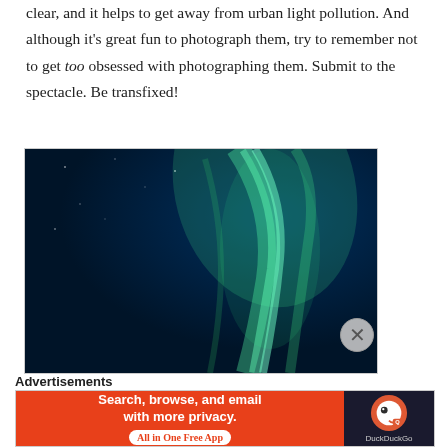clear, and it helps to get away from urban light pollution. And although it's great fun to photograph them, try to remember not to get too obsessed with photographing them. Submit to the spectacle. Be transfixed!
[Figure (photo): Aurora borealis (northern lights) photograph showing green curtains of light against a deep blue night sky]
Advertisements
[Figure (screenshot): DuckDuckGo advertisement banner: 'Search, browse, and email with more privacy. All in One Free App' on orange background with DuckDuckGo logo on dark background]